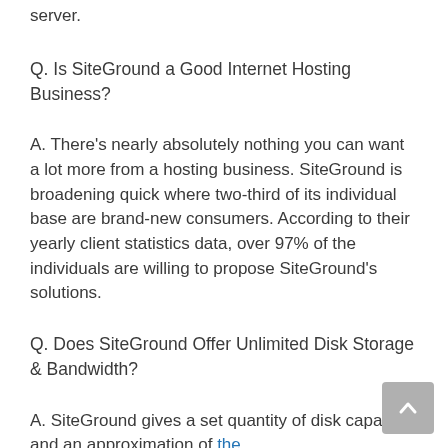server.
Q. Is SiteGround a Good Internet Hosting Business?
A. There’s nearly absolutely nothing you can want a lot more from a hosting business. SiteGround is broadening quick where two-third of its individual base are brand-new consumers. According to their yearly client statistics data, over 97% of the individuals are willing to propose SiteGround’s solutions.
Q. Does SiteGround Offer Unlimited Disk Storage & Bandwidth?
A. SiteGround gives a set quantity of disk capacity and an approximation of the